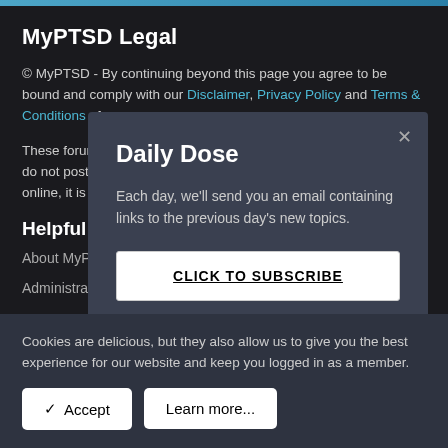MyPTSD Legal
© MyPTSD - By continuing beyond this page you agree to be bound and comply with our Disclaimer, Privacy Policy and Terms & Conditions of use.
These forums are p... do not post identify... online, it is there fore...
Helpful Links
About MyPTSD
Administration
Daily Dose
Each day, we'll send you an email containing links to the previous day's new topics.
CLICK TO SUBSCRIBE
Cookies are delicious, but they also allow us to give you the best experience for our website and keep you logged in as a member.
✓ Accept
Learn more...